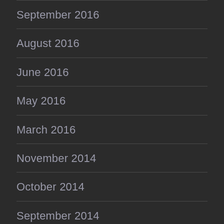September 2016
August 2016
June 2016
May 2016
March 2016
November 2014
October 2014
September 2014
August 2014
July 2014
June 2014